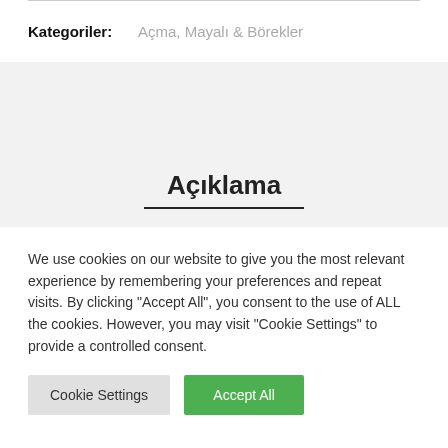Kategoriler: Açma, Mayalı & Börekler
Açıklama
We use cookies on our website to give you the most relevant experience by remembering your preferences and repeat visits. By clicking "Accept All", you consent to the use of ALL the cookies. However, you may visit "Cookie Settings" to provide a controlled consent.